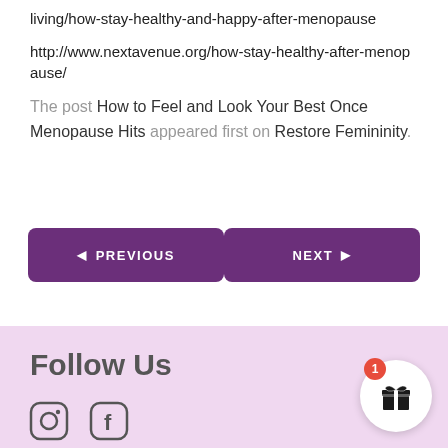living/how-stay-healthy-and-happy-after-menopause
http://www.nextavenue.org/how-stay-healthy-after-menopause/
The post How to Feel and Look Your Best Once Menopause Hits appeared first on Restore Femininity.
[Figure (other): Navigation buttons: PREVIOUS (left arrow) and NEXT (right arrow), both purple rounded rectangles]
Follow Us
[Figure (illustration): Social media icons: Instagram circle icon and Facebook icon at bottom left. Gift widget with red badge showing '1' at bottom right.]